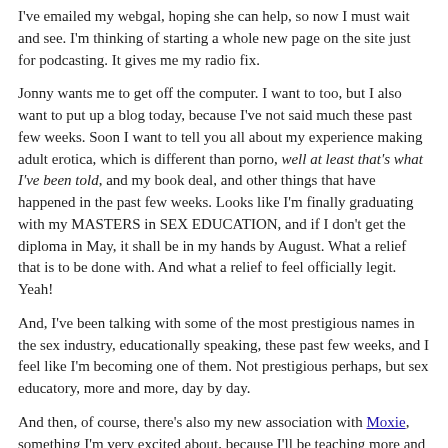I've emailed my webgal, hoping she can help, so now I must wait and see. I'm thinking of starting a whole new page on the site just for podcasting. It gives me my radio fix.
Jonny wants me to get off the computer. I want to too, but I also want to put up a blog today, because I've not said much these past few weeks. Soon I want to tell you all about my experience making adult erotica, which is different than porno, well at least that's what I've been told, and my book deal, and other things that have happened in the past few weeks. Looks like I'm finally graduating with my MASTERS in SEX EDUCATION, and if I don't get the diploma in May, it shall be in my hands by August. What a relief that is to be done with. And what a relief to feel officially legit. Yeah!
And, I've been talking with some of the most prestigious names in the sex industry, educationally speaking, these past few weeks, and I feel like I'm becoming one of them. Not prestigious perhaps, but sex educatory, more and more, day by day.
And then, of course, there's also my new association with Moxie, something I'm very excited about, because I'll be teaching more and more classes. Of course, it's only just begun, so lets see. But I'm going to be teaching basic blowjob classes to lots of new and interesting women. I'd also like to do more classes for men, I'm